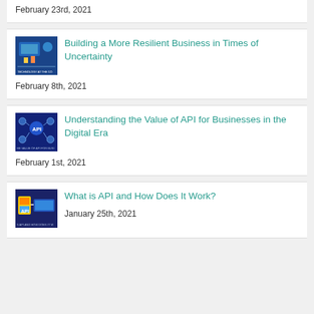February 23rd, 2021
Building a More Resilient Business in Times of Uncertainty
February 8th, 2021
Understanding the Value of API for Businesses in the Digital Era
February 1st, 2021
What is API and How Does It Work?
January 25th, 2021